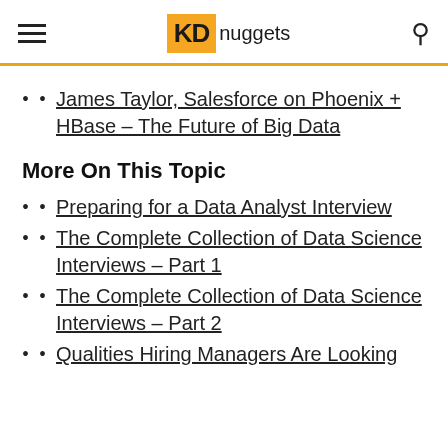KDnuggets
James Taylor, Salesforce on Phoenix + HBase – The Future of Big Data
More On This Topic
Preparing for a Data Analyst Interview
The Complete Collection of Data Science Interviews – Part 1
The Complete Collection of Data Science Interviews – Part 2
Qualities Hiring Managers Are Looking